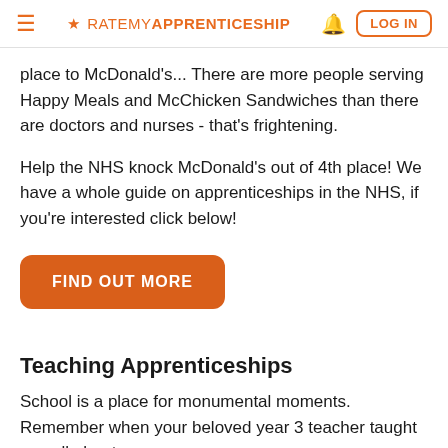★ RATEMY APPRENTICESHIP | 🔔 | LOG IN
place to McDonald's... There are more people serving Happy Meals and McChicken Sandwiches than there are doctors and nurses - that's frightening.
Help the NHS knock McDonald's out of 4th place! We have a whole guide on apprenticeships in the NHS, if you're interested click below!
[Figure (other): Orange rounded button with white bold uppercase text reading FIND OUT MORE]
Teaching Apprenticeships
School is a place for monumental moments. Remember when your beloved year 3 teacher taught you all about